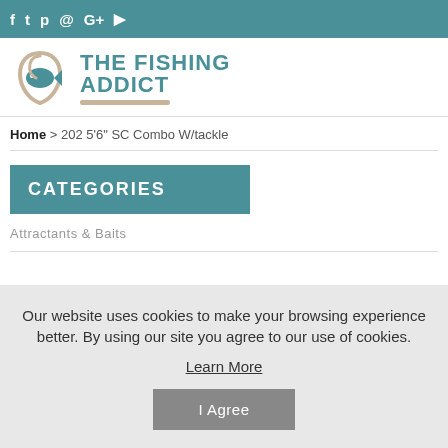f  t  p  [instagram]  G+  [youtube] — social media icons bar
[Figure (logo): The Fishing Addict logo — fish hook and fish icon in teal/beige, with brand name in teal text]
Home > 202 5'6" SC Combo W/tackle
CATEGORIES
Attractants & Baits
Our website uses cookies to make your browsing experience better. By using our site you agree to our use of cookies. Learn More  [I Agree button]